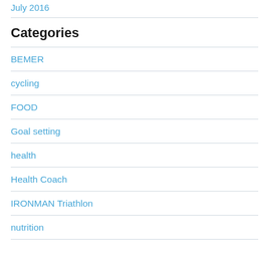July 2016
Categories
BEMER
cycling
FOOD
Goal setting
health
Health Coach
IRONMAN Triathlon
nutrition